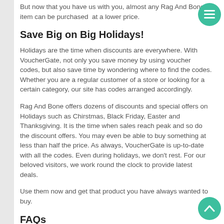But now that you have us with you, almost any Rag And Bone item can be purchased at a lower price.
Save Big on Big Holidays!
Holidays are the time when discounts are everywhere. With VoucherGate, not only you save money by using voucher codes, but also save time by wondering where to find the codes. Whether you are a regular customer of a store or looking for a certain category, our site has codes arranged accordingly.
Rag And Bone offers dozens of discounts and special offers on Holidays such as Chirstmas, Black Friday, Easter and Thanksgiving. It is the time when sales reach peak and so do the discount offers. You may even be able to buy something at less than half the price. As always, VoucherGate is up-to-date with all the codes. Even during holidays, we don't rest. For our beloved visitors, we work round the clock to provide latest deals.
Use them now and get that product you have always wanted to buy.
FAQs
What If My Voucher Code is Not Working?
We hope it doesn't happen, but if it does, please let us know by contacting us at contact@vouchergate.co.uk